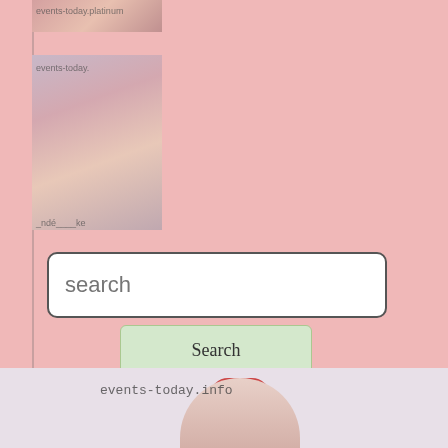[Figure (photo): Partial image at top, cropped, shows website watermark 'events-today.platinum']
[Figure (photo): Photo of a young woman with glasses and crossed arms, watermark 'events-today.' overlaid at top]
search
Search
Facebook
[Figure (photo): Bottom partial photo showing top of blonde woman's head with red accessory, watermark 'events-today.info']